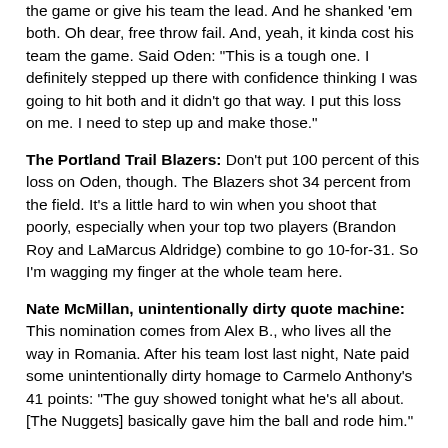the game or give his team the lead. And he shanked 'em both. Oh dear, free throw fail. And, yeah, it kinda cost his team the game. Said Oden: "This is a tough one. I definitely stepped up there with confidence thinking I was going to hit both and it didn't go that way. I put this loss on me. I need to step up and make those."
The Portland Trail Blazers: Don't put 100 percent of this loss on Oden, though. The Blazers shot 34 percent from the field. It's a little hard to win when you shoot that poorly, especially when your top two players (Brandon Roy and LaMarcus Aldridge) combine to go 10-for-31. So I'm wagging my finger at the whole team here.
Nate McMillan, unintentionally dirty quote machine: This nomination comes from Alex B., who lives all the way in Romania. After his team lost last night, Nate paid some unintentionally dirty homage to Carmelo Anthony's 41 points: "The guy showed tonight what he's all about. [The Nuggets] basically gave him the ball and rode him."
The Official (Short) Lacktion Report (by Chris): No night